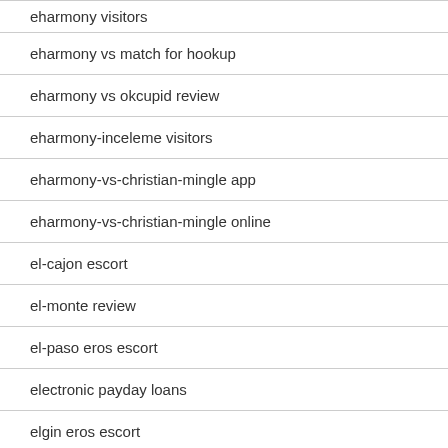eharmony visitors
eharmony vs match for hookup
eharmony vs okcupid review
eharmony-inceleme visitors
eharmony-vs-christian-mingle app
eharmony-vs-christian-mingle online
el-cajon escort
el-monte review
el-paso eros escort
electronic payday loans
elgin eros escort
elgin escort service